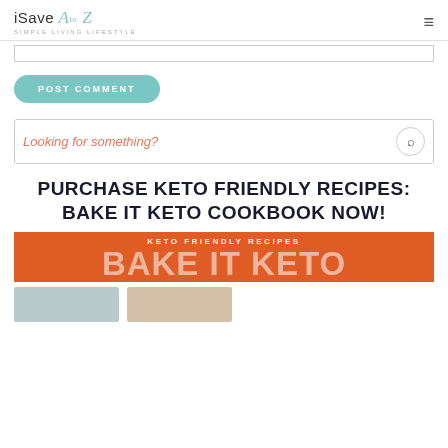iSave A to Z — SIMPLE LIVING LIFESTYLE
[Figure (screenshot): Input text box (comment field, partially visible at top)]
POST COMMENT
[Figure (screenshot): Search box with placeholder text 'Looking for something?' and search icon]
PURCHASE KETO FRIENDLY RECIPES: BAKE IT KETO COOKBOOK NOW!
[Figure (illustration): Orange banner with white text: 'KETO FRIENDLY RECIPES' and large 'BAKE IT KETO' text]
[Figure (photo): Two food photos partially visible at bottom of page]